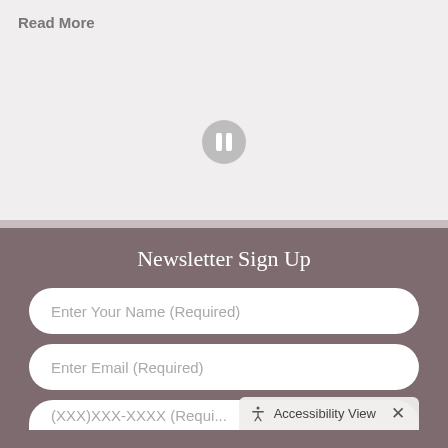Read More
[Figure (other): Pause button icon in the center of a light gray section]
Newsletter Sign Up
Enter Your Name (Required)
Enter Email (Required)
(XXX)XXX-XXXX (Requi...
Accessibility View